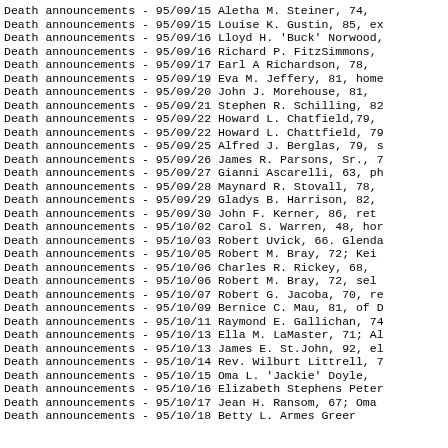Death announcements - 95/09/15  Aletha M. Steiner, 74,
Death announcements - 95/09/15  Louise K. Gustin, 85, ex
Death announcements - 95/09/16  Lloyd H. 'Buck' Norwood,
Death announcements - 95/09/16  Richard P. FitzSimmons,
Death announcements - 95/09/17  Earl A Richardson, 78,
Death announcements - 95/09/19  Eva M. Jeffery, 81, home
Death announcements - 95/09/20  John J. Morehouse, 81,
Death announcements - 95/09/21  Stephen R. Schilling, 82
Death announcements - 95/09/22  Howard L. Chatfield,79,
Death announcements - 95/09/22  Howard L. Chattfield, 79
Death announcements - 95/09/25  Alfred J. Berglas, 79, s
Death announcements - 95/09/26  James R. Parsons, Sr., 7
Death announcements - 95/09/27  Gianni Ascarelli, 63, ph
Death announcements - 95/09/28  Maynard R. Stovall, 78,
Death announcements - 95/09/29  Gladys B. Harrison, 82,
Death announcements - 95/09/30  John F. Kerner, 86, ret
Death announcements - 95/10/02  Carol S. Warren, 48, hor
Death announcements - 95/10/03  Robert Uvick, 66. Glenda
Death announcements - 95/10/05  Robert M. Bray, 72; Kei
Death announcements - 95/10/06  Charles R. Rickey, 68,
Death announcements - 95/10/06  Robert M. Bray, 72, sel
Death announcements - 95/10/07  Robert G. Jacoba, 70, re
Death announcements - 95/10/09  Bernice C. Mau, 81, of D
Death announcements - 95/10/11  Raymond E. Gallichan, 74
Death announcements - 95/10/13  Ella M. LaMaster, 71; Al
Death announcements - 95/10/13  James E. St.John, 92, el
Death announcements - 95/10/14  Rev. Wilburt Littrell, 7
Death announcements - 95/10/15  Oma L. 'Jackie' Doyle,
Death announcements - 95/10/16  Elizabeth Stephens Peter
Death announcements - 95/10/17  Jean H. Ransom, 67; Oma
Death announcements - 95/10/18  Betty L. Armes Greer